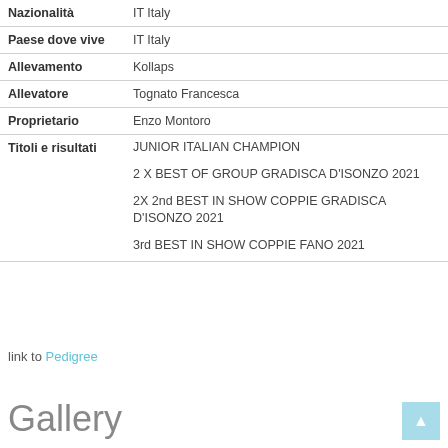| Field | Value |
| --- | --- |
| Nazionalità | IT Italy |
| Paese dove vive | IT Italy |
| Allevamento | Kollaps |
| Allevatore | Tognato Francesca |
| Proprietario | Enzo Montoro |
| Titoli e risultati | JUNIOR ITALIAN CHAMPION
2 X BEST OF GROUP GRADISCA D'ISONZO 2021
2X 2nd BEST IN SHOW COPPIE GRADISCA D'ISONZO 2021
3rd BEST IN SHOW COPPIE FANO 2021 |
link to Pedigree
Gallery